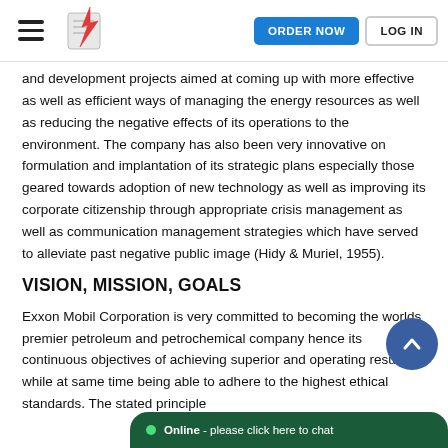ORDER NOW | LOG IN
and development projects aimed at coming up with more effective as well as efficient ways of managing the energy resources as well as reducing the negative effects of its operations to the environment. The company has also been very innovative on formulation and implantation of its strategic plans especially those geared towards adoption of new technology as well as improving its corporate citizenship through appropriate crisis management as well as communication management strategies which have served to alleviate past negative public image (Hidy & Muriel, 1955).
VISION, MISSION, GOALS
Exxon Mobil Corporation is very committed to becoming the worlds premier petroleum and petrochemical company hence its continuous objectives of achieving superior and operating results while at same time being able to adhere to the highest ethical standards. The stated principle